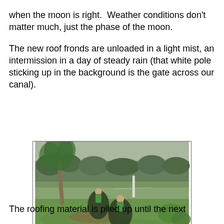when the moon is right. Weather conditions don't matter much, just the phase of the moon.
	The new roof fronds are unloaded in a light mist, an intermission in a day of steady rain (that white pole sticking up in the background is the gate across our canal).
[Figure (photo): Outdoor scene showing workers unloading palm fronds/roof thatching material in a misty, rainy day. Green lawn in foreground, workers carrying dark bundles of fronds, a palm tree on the left, lush green trees in the background, and a white gate post visible in the distance. Watermark reads 'foxessoff.blogspot.com'.]
The roofing material is piled up until the next